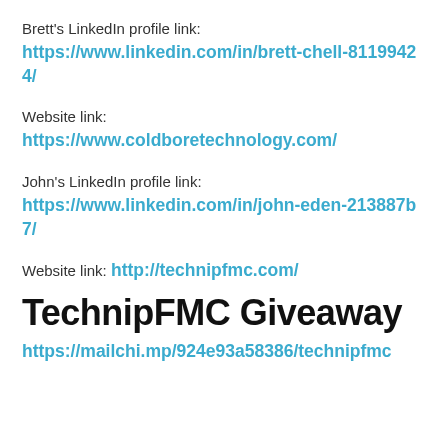Brett's LinkedIn profile link:
https://www.linkedin.com/in/brett-chell-81199424/
Website link:
https://www.coldboretechnology.com/
John's LinkedIn profile link:
https://www.linkedin.com/in/john-eden-213887b7/
Website link: http://technipfmc.com/
TechnipFMC Giveaway
https://mailchi.mp/924e93a58386/technipfmc